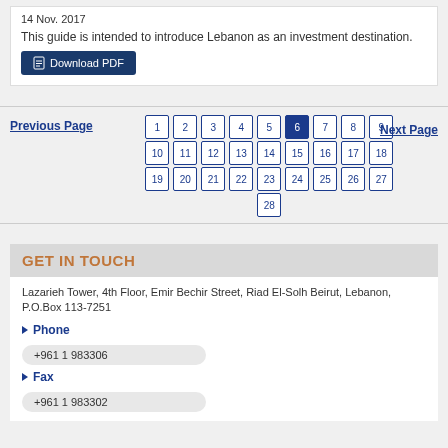14 Nov. 2017
This guide is intended to introduce Lebanon as an investment destination.
Download PDF
Previous Page
1 2 3 4 5 6 7 8 9 10 11 12 13 14 15 16 17 18 19 20 21 22 23 24 25 26 27 28
Next Page
GET IN TOUCH
Lazarieh Tower, 4th Floor, Emir Bechir Street, Riad El-Solh Beirut, Lebanon, P.O.Box 113-7251
Phone
+961 1 983306
Fax
+961 1 983302